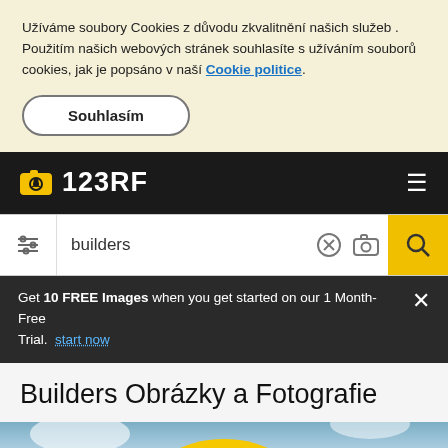Užíváme soubory Cookies z důvodu zkvalitnění našich služeb . Použitím našich webových stránek souhlasíte s užíváním souborů cookies, jak je popsáno v naší Cookie politice.
Souhlasím
123RF
builders
Get 10 FREE Images when you get started on our 1 Month-Free Trial. start now
Builders Obrázky a Fotografie
[Figure (photo): Bottom portion of a photo showing a yellow construction helmet against a blue sky with clouds]